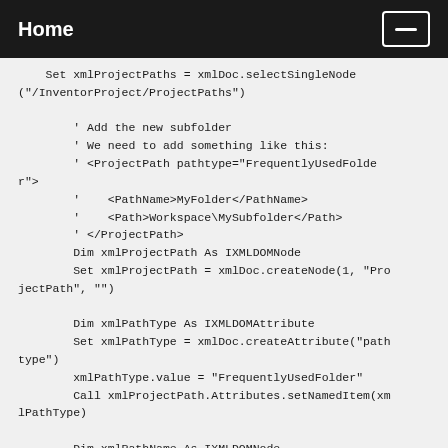Home
Set xmlProjectPaths = xmlDoc.selectSingleNode
("/InventorProject/ProjectPaths")

        ' Add the new subfolder
        ' We need to add something like this:
        ' <ProjectPath pathtype="FrequentlyUsedFolde
r">
        '    <PathName>MyFolder</PathName>
        '    <Path>Workspace\MySubfolder</Path>
        ' </ProjectPath>
        Dim xmlProjectPath As IXMLDOMNode
        Set xmlProjectPath = xmlDoc.createNode(1, "Pro
jectPath", "")

        Dim xmlPathType As IXMLDOMAttribute
        Set xmlPathType = xmlDoc.createAttribute("path
type")
        xmlPathType.value = "FrequentlyUsedFolder"
        Call xmlProjectPath.Attributes.setNamedItem(xm
lPathType)

        Dim xmlPathName As IXMLDOMNode